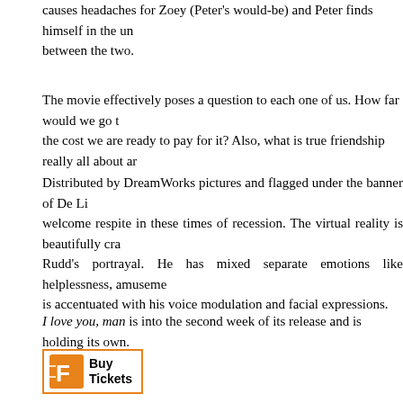causes headaches for Zoey (Peter's would-be) and Peter finds himself in the uncomfortable situation between the two.
The movie effectively poses a question to each one of us. How far would we go to achieve success and the cost we are ready to pay for it? Also, what is true friendship really all about and
Distributed by DreamWorks pictures and flagged under the banner of De Li... welcome respite in these times of recession. The virtual reality is beautifully cra... Rudd's portrayal. He has mixed separate emotions like helplessness, amuseme... is accentuated with his voice modulation and facial expressions.
I love you, man is into the second week of its release and is holding its own.
[Figure (other): Fandango Buy Tickets button with orange Fandango logo icon]
Comedy, Just left Theaters, Romance
best friends, friends, I love you, I love you Man, jason segal, Man, paul rudd